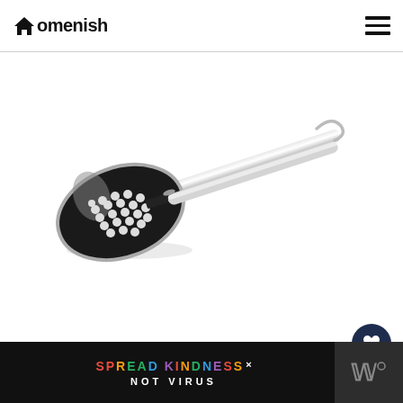Homenish
[Figure (photo): A kitchen skimmer/slotted spoon with a large oval black nylon head featuring circular perforations arranged in a pattern, connected to a long stainless steel handle with a hanging loop at the end, photographed on a white background at a diagonal angle.]
5
SPREAD KINDNESS NOT VIRUS